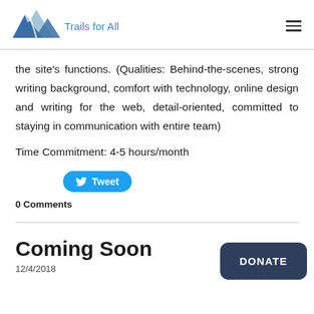Trails for All
the site's functions. (Qualities: Behind-the-scenes, strong writing background, comfort with technology, online design and writing for the web, detail-oriented, committed to staying in communication with entire team)
Time Commitment: 4-5 hours/month
[Figure (other): Tweet button with Twitter bird icon]
0 Comments
Coming Soon
12/4/2018
[Figure (other): DONATE button, dark navy rounded rectangle]